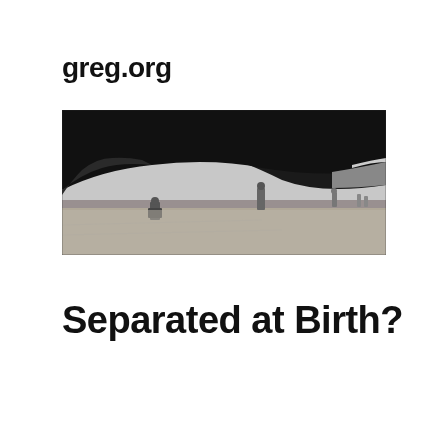greg.org
[Figure (photo): Black and white photograph taken from ground level beneath the curved hull of a large ship or vessel. Two small human figures are visible in the middle distance, dwarfed by the massive dark curved underside of the hull above them. The scene appears to be a shipyard or dry dock setting.]
Separated at Birth?